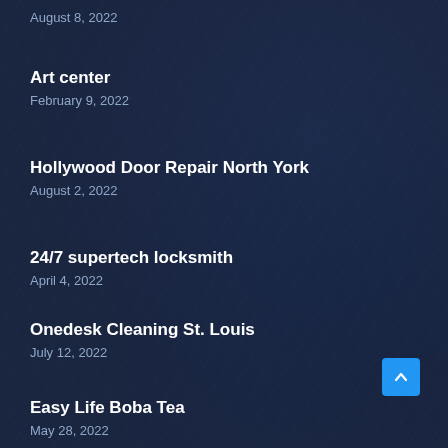August 8, 2022
Art center
February 9, 2022
Hollywood Door Repair North York
August 2, 2022
24/7 supertech locksmith
April 4, 2022
Onedesk Cleaning St. Louis
July 12, 2022
Easy Life Boba Tea
May 28, 2022